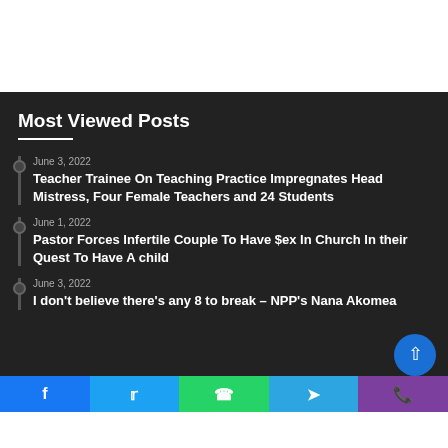Most Viewed Posts
June 3, 2022
Teacher Trainee On Teaching Practice Impregnates Head Mistress, Four Female Teachers and 24 Students
June 1, 2022
Pastor Forces Infertile Couple To Have $ex In Church In their Quest To Have A child
June 3, 2022
I don't believe there's any 8 to break – NPP's Nana Akomea
Facebook | Twitter | WhatsApp | Telegram | Phone